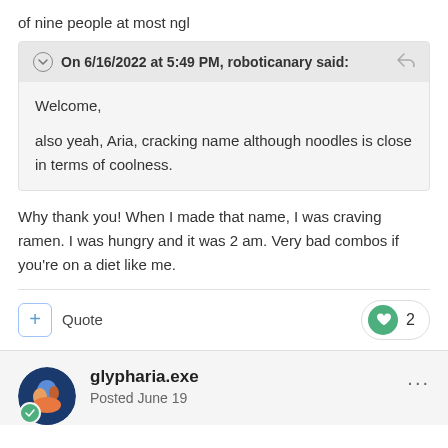of nine people at most ngl
On 6/16/2022 at 5:49 PM, roboticanary said:
Welcome,
also yeah, Aria, cracking name although noodles is close in terms of coolness.
Why thank you! When I made that name, I was craving ramen. I was hungry and it was 2 am. Very bad combos if you're on a diet like me.
+ Quote   ♥ 2
glypharia.exe
Posted June 19